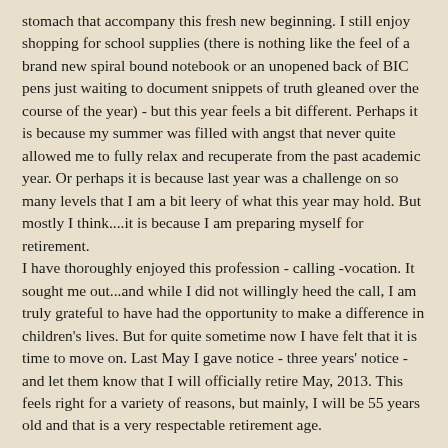stomach that accompany this fresh new beginning.  I still enjoy shopping for school supplies (there is nothing like the feel of a brand new spiral bound notebook or an unopened back of BIC pens just waiting to document snippets of truth gleaned over the course of the year) -  but this year feels a bit different.  Perhaps it is because my summer was filled with angst that never quite allowed me to fully relax and recuperate from the past academic year.  Or perhaps it is because last year was a challenge on so many levels that I am a bit leery of what this year may hold.  But mostly I think....it is because I am preparing myself for retirement.
I have thoroughly enjoyed this profession - calling -vocation.  It sought me out...and while I did not willingly heed the call, I am truly grateful to have had the opportunity to make a difference in children's lives.  But for quite sometime now I have felt that it is time to move on.  Last May I gave notice - three years' notice - and let them know that I will officially retire May, 2013.  This feels right for a variety of reasons, but mainly, I will be 55 years old and that is a very respectable retirement age.